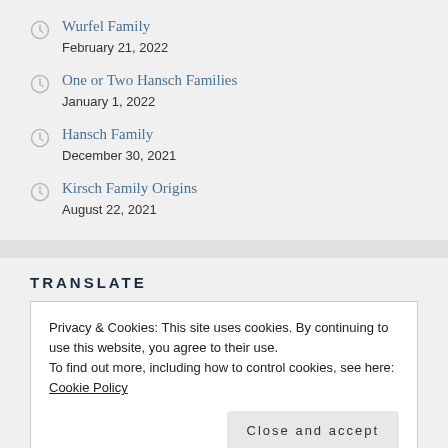Wurfel Family
February 21, 2022
One or Two Hansch Families
January 1, 2022
Hansch Family
December 30, 2021
Kirsch Family Origins
August 22, 2021
TRANSLATE
Privacy & Cookies: This site uses cookies. By continuing to use this website, you agree to their use.
To find out more, including how to control cookies, see here: Cookie Policy
SUBSCRIBE VIA EMAIL